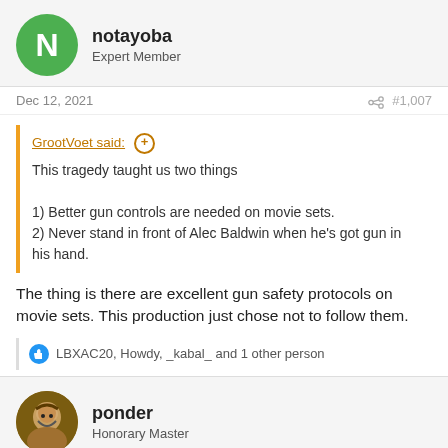notayoba
Expert Member
Dec 12, 2021
#1,007
GrootVoet said: ⊕
This tragedy taught us two things

1) Better gun controls are needed on movie sets.
2) Never stand in front of Alec Baldwin when he's got gun in his hand.
The thing is there are excellent gun safety protocols on movie sets. This production just chose not to follow them.
LBXAC20, Howdy, _kabal_ and 1 other person
ponder
Honorary Master